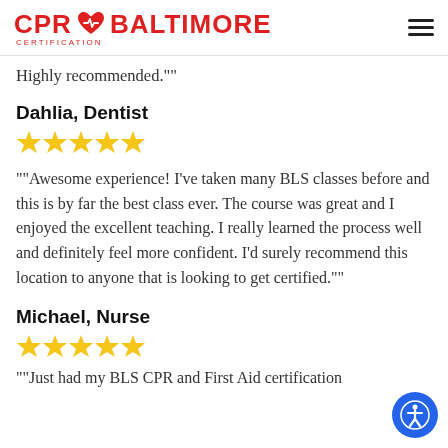CPR BALTIMORE CERTIFICATION
Highly recommended.""
Dahlia, Dentist
[Figure (other): 5 gold star rating]
""Awesome experience! I've taken many BLS classes before and this is by far the best class ever. The course was great and I enjoyed the excellent teaching. I really learned the process well and definitely feel more confident. I'd surely recommend this location to anyone that is looking to get certified.""
Michael, Nurse
[Figure (other): 5 gold star rating]
""Just had my BLS CPR and First Aid certification